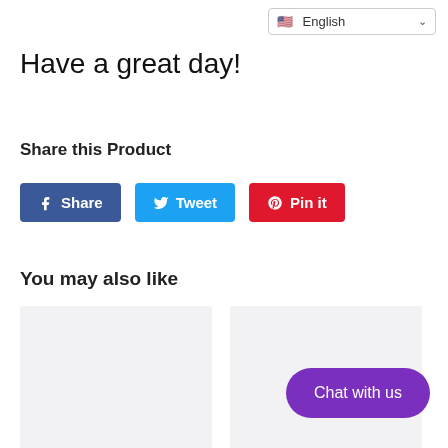English
Have a great day!
Share this Product
Share  Tweet  Pin it
You may also like
[Figure (other): Two product placeholder image cards side by side]
Chat with us